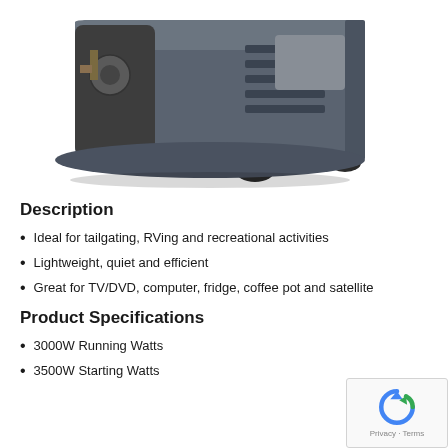[Figure (photo): A gray portable inverter generator photographed from a side/front angle, showing ventilation slots and rubber feet on a white background.]
Description
Ideal for tailgating, RVing and recreational activities
Lightweight, quiet and efficient
Great for TV/DVD, computer, fridge, coffee pot and satellite
Product Specifications
3000W Running Watts
3500W Starting Watts